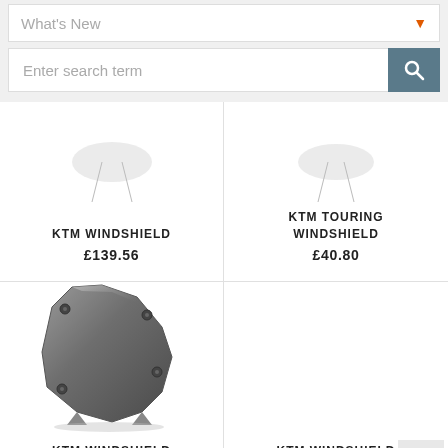What's New
Enter search term
KTM WINDSHIELD
£139.56
KTM TOURING WINDSHIELD
£40.80
[Figure (photo): KTM motorcycle windshield product photo - dark tinted curved windshield]
KTM WINDSHIELD
KTM WINDSHIELD